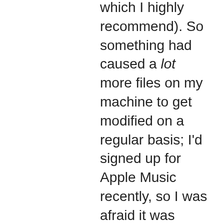which I highly recommend). So something had caused a lot more files on my machine to get modified on a regular basis; I'd signed up for Apple Music recently, so I was afraid it was doing something, and, sure enough, I saw music file names show up in the Backblaze upload list.
I grabbed one of those files from an earlier backup, in order to compare it with the current version. And, of course, the obvious way to compare two binary files is: open them up in Emacs. Specifically, open them up in